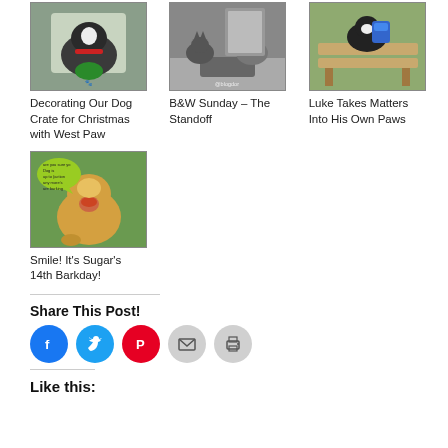[Figure (photo): Dog in Christmas crate with green toy]
Decorating Our Dog Crate for Christmas with West Paw
[Figure (photo): B&W photo of cat and dog standoff]
B&W Sunday – The Standoff
[Figure (photo): Dog with blue backpack on wooden bench outdoors]
Luke Takes Matters Into His Own Paws
[Figure (photo): Golden retriever howling with speech bubble meme text]
Smile! It's Sugar's 14th Barkday!
Share This Post!
Like this: